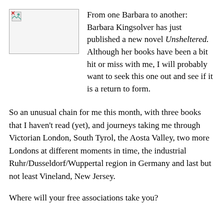[Figure (photo): Small image placeholder with broken image icon in top-left corner, with a border]
From one Barbara to another: Barbara Kingsolver has just published a new novel Unsheltered. Although her books have been a bit hit or miss with me, I will probably want to seek this one out and see if it is a return to form.
So an unusual chain for me this month, with three books that I haven't read (yet), and journeys taking me through Victorian London, South Tyrol, the Aosta Valley, two more Londons at different moments in time, the industrial Ruhr/Dusseldorf/Wuppertal region in Germany and last but not least Vineland, New Jersey.
Where will your free associations take you?